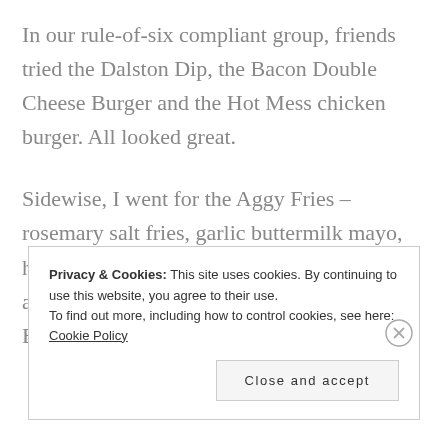In our rule-of-six compliant group, friends tried the Dalston Dip, the Bacon Double Cheese Burger and the Hot Mess chicken burger. All looked great.

Sidewise, I went for the Aggy Fries – rosemary salt fries, garlic buttermilk mayo, hot sauce, grated Parmesan and spring onion, and nabbed a chicken strip with rum'n'ting BBQ
Privacy & Cookies: This site uses cookies. By continuing to use this website, you agree to their use.
To find out more, including how to control cookies, see here: Cookie Policy
Close and accept